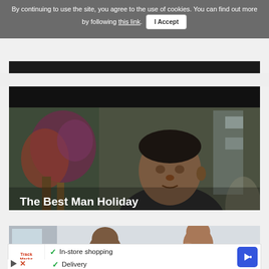By continuing to use the site, you agree to the use of cookies. You can find out more by following this link. I Accept
[Figure (screenshot): Bottom edge of a dark video thumbnail, partially cut off at top of page]
[Figure (screenshot): Video thumbnail showing a man's face with text overlay 'The Best Man Holiday Trailer']
The Best Man Holiday Trailer
[Figure (screenshot): Partial video thumbnail showing two people in a room, partially obscured by advertisement overlay]
In-store shopping
Curbside pickup
Delivery